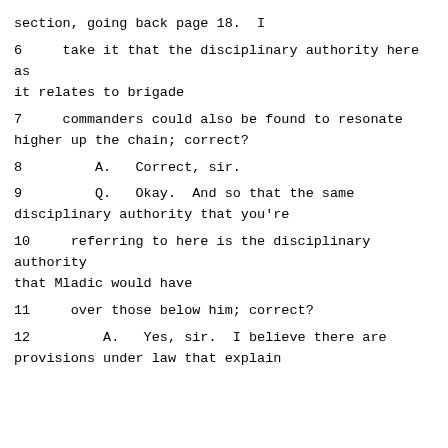section, going back page 18.  I
6     take it that the disciplinary authority here as it relates to brigade
7     commanders could also be found to resonate higher up the chain; correct?
8        A.   Correct, sir.
9        Q.   Okay.  And so that the same disciplinary authority that you're
10     referring to here is the disciplinary authority that Mladic would have
11     over those below him; correct?
12       A.   Yes, sir.  I believe there are provisions under law that explain